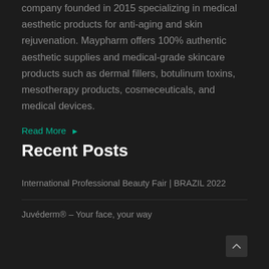Maypharm Co., Ltd. (MAYPHARM) is a global company founded in 2015 specializing in medical aesthetic products for anti-aging and skin rejuvenation. Maypharm offers 100% authentic aesthetic supplies and medical-grade skincare products such as dermal fillers, botulinum toxins, mesotherapy products, cosmeceuticals, and medical devices.
Read More ▶
Recent Posts
International Professional Beauty Fair | BRAZIL 2022
Juvéderm® – Your face, your way